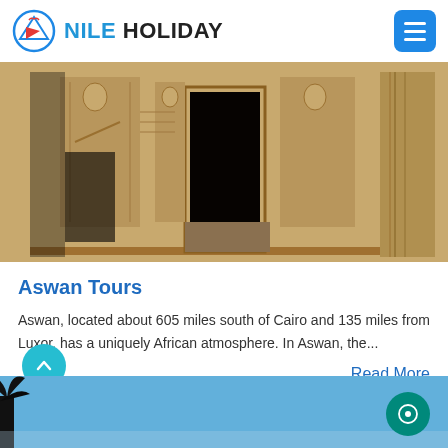NILE HOLIDAY
[Figure (photo): Ancient Egyptian temple facade with carved figures and hieroglyphics on stone walls, central doorway, columns on right]
Aswan Tours
Aswan, located about 605 miles south of Cairo and 135 miles from Luxor, has a uniquely African atmosphere. In Aswan, the...
Read More
[Figure (photo): Blue sky with palm tree silhouette, partial bottom strip view]